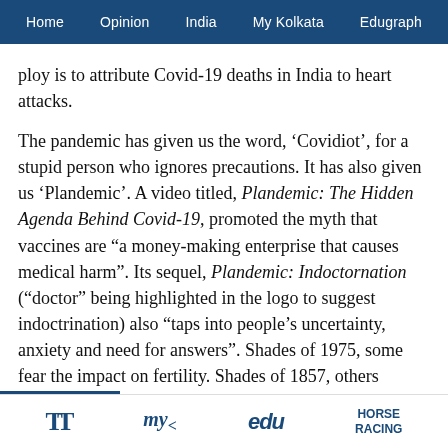Home   Opinion   India   My Kolkata   Edugraph
ploy is to attribute Covid-19 deaths in India to heart attacks.
The pandemic has given us the word, ‘Covidiot’, for a stupid person who ignores precautions. It has also given us ‘Plandemic’. A video titled, Plandemic: The Hidden Agenda Behind Covid-19, promoted the myth that vaccines are “a money-making enterprise that causes medical harm”. Its sequel, Plandemic: Indoctornation (“doctor” being highlighted in the logo to suggest indoctrination) also “taps into people’s uncertainty, anxiety and need for answers”. Shades of 1975, some fear the impact on fertility. Shades of 1857, others believe vaccines contain forbidden animal products despite the announcement by Magda Smith, an NHS director, “I can absolutely assure you there is
TT   my   edu   HORSE RACING